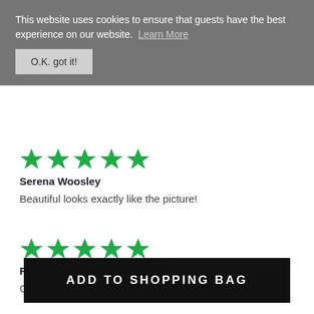This website uses cookies to ensure that guests have the best experience on our website. Learn More
O.K. got it!
[Figure (other): Five green star rating for review by Serena Woosley]
Serena Woosley
Beautiful looks exactly like the picture!
[Figure (other): Five green star rating for review by RMC]
RMC
Good service
ADD TO SHOPPING BAG